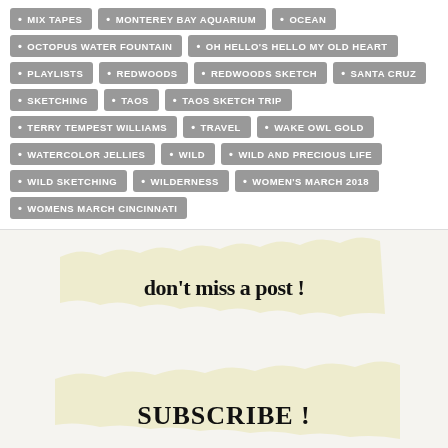MIX TAPES
MONTEREY BAY AQUARIUM
OCEAN
OCTOPUS WATER FOUNTAIN
OH HELLO'S HELLO MY OLD HEART
PLAYLISTS
REDWOODS
REDWOODS SKETCH
SANTA CRUZ
SKETCHING
TAOS
TAOS SKETCH TRIP
TERRY TEMPEST WILLIAMS
TRAVEL
WAKE OWL GOLD
WATERCOLOR JELLIES
WILD
WILD AND PRECIOUS LIFE
WILD SKETCHING
WILDERNESS
WOMEN'S MARCH 2018
WOMENS MARCH CINCINNATI
[Figure (photo): Torn piece of yellowish paper with handwritten text reading 'don't miss a post!' and below it 'SUBSCRIBE!' in bold handwriting, on a light background.]